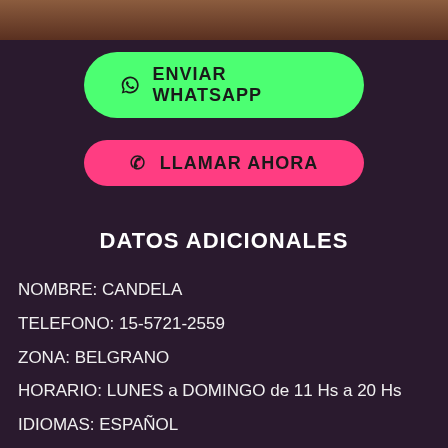[Figure (photo): Partial photo strip at the top of the page showing a person]
⊙ ENVIAR WHATSAPP
✆ LLAMAR AHORA
DATOS ADICIONALES
NOMBRE: CANDELA
TELEFONO: 15-5721-2559
ZONA: BELGRANO
HORARIO: LUNES a DOMINGO de 11 Hs a 20 Hs
IDIOMAS: ESPAÑOL
MEDIOS DE PAGO: EFECTIVO